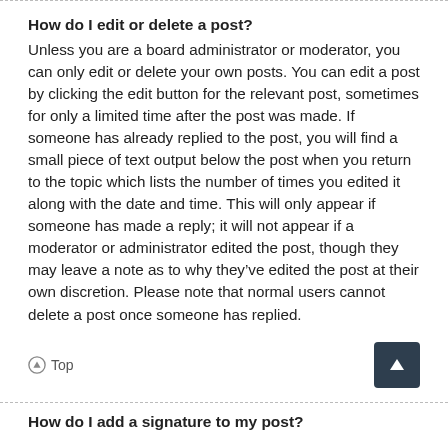How do I edit or delete a post?
Unless you are a board administrator or moderator, you can only edit or delete your own posts. You can edit a post by clicking the edit button for the relevant post, sometimes for only a limited time after the post was made. If someone has already replied to the post, you will find a small piece of text output below the post when you return to the topic which lists the number of times you edited it along with the date and time. This will only appear if someone has made a reply; it will not appear if a moderator or administrator edited the post, though they may leave a note as to why they’ve edited the post at their own discretion. Please note that normal users cannot delete a post once someone has replied.
Top
How do I add a signature to my post?